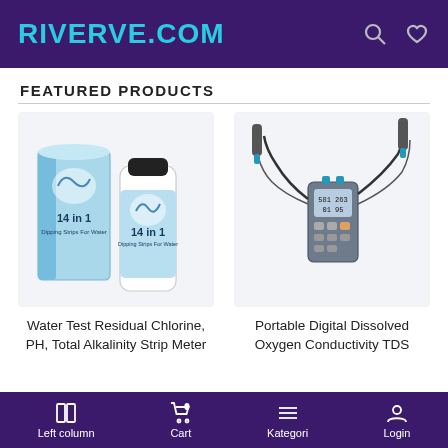RIVERVE.COM
FEATURED PRODUCTS
[Figure (photo): 14 in 1 water test strip kit — blue box and bottle]
Water Test Residual Chlorine, PH, Total Alkalinity Strip Meter
[Figure (photo): Portable digital dissolved oxygen conductivity TDS meter with probes and cables]
Portable Digital Dissolved Oxygen Conductivity TDS
Left column  Cart 0  Kategori  Login